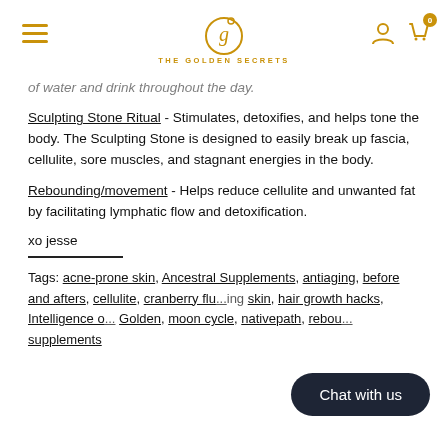THE GOLDEN SECRETS
of water and drink throughout the day.
Sculpting Stone Ritual - Stimulates, detoxifies, and helps tone the body. The Sculpting Stone is designed to easily break up fascia, cellulite, sore muscles, and stagnant energies in the body.
Rebounding/movement - Helps reduce cellulite and unwanted fat by facilitating lymphatic flow and detoxification.
xo jesse
Tags: acne-prone skin, Ancestral Supplements, antiaging, before and afters, cellulite, cranberry flu... ...ing skin, hair growth hacks, Intelligence o... Golden, moon cycle, nativepath, rebou... supplements